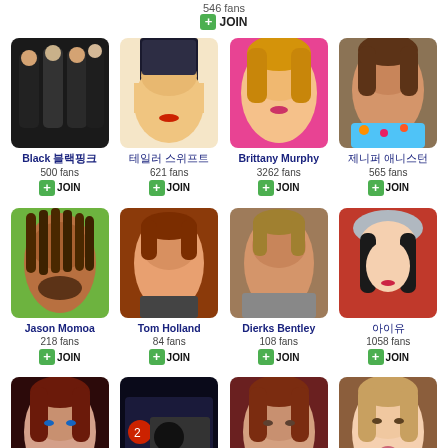546 fans
JOIN
[Figure (photo): Black (K-pop group) - four women in black outfits]
Black 블랙핑크
500 fans
JOIN
[Figure (photo): Blonde female celebrity with red lips and cap]
테일러 스위프트
621 fans
JOIN
[Figure (photo): Brittany Murphy - blonde actress on pink background]
Brittany Murphy
3262 fans
JOIN
[Figure (photo): Female celebrity with brown hair in floral top]
제니퍼 애니스턴
565 fans
JOIN
[Figure (photo): Jason Momoa - man with dreadlocks]
Jason Momoa
218 fans
JOIN
[Figure (photo): Tom Holland - young male actor]
Tom Holland
84 fans
JOIN
[Figure (photo): Dierks Bentley - male country singer]
Dierks Bentley
108 fans
JOIN
[Figure (photo): Asian female celebrity with beret]
아이유
1058 fans
JOIN
[Figure (photo): Girl with blue eyes and dark hair]
[Figure (photo): Dark movie/group scene]
[Figure (photo): Female celebrity with auburn hair]
[Figure (photo): Asian female celebrity]